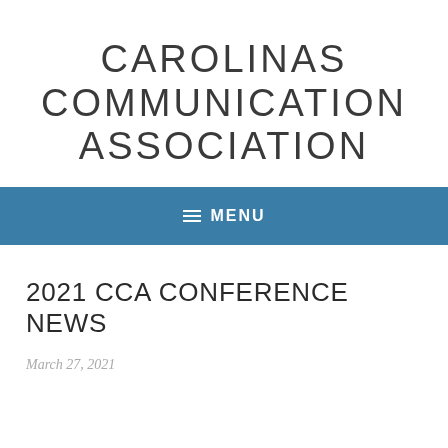CAROLINAS COMMUNICATION ASSOCIATION
≡ MENU
2021 CCA CONFERENCE NEWS
March 27, 2021